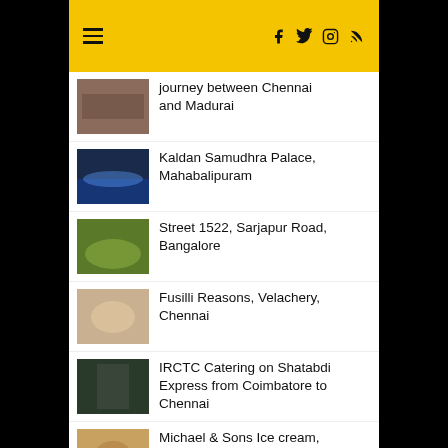Navigation header with hamburger menu and social icons (Facebook, Twitter, Instagram, RSS)
journey between Chennai and Madurai
Kaldan Samudhra Palace, Mahabalipuram
Street 1522, Sarjapur Road, Bangalore
Fusilli Reasons, Velachery, Chennai
IRCTC Catering on Shatabdi Express from Coimbatore to Chennai
Michael & Sons Ice cream, Trichy
A Food Walk through Sowcarpet, Part 2
Bikanervala, Nungambakkam, Chennai